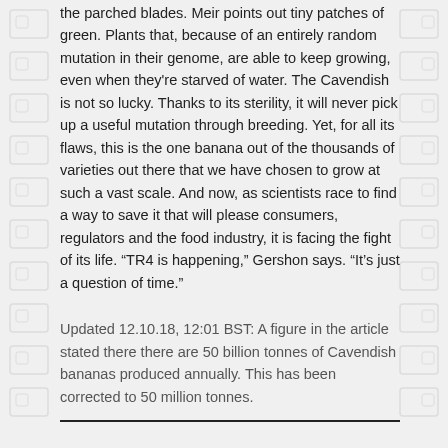the parched blades. Meir points out tiny patches of green. Plants that, because of an entirely random mutation in their genome, are able to keep growing, even when they're starved of water. The Cavendish is not so lucky. Thanks to its sterility, it will never pick up a useful mutation through breeding. Yet, for all its flaws, this is the one banana out of the thousands of varieties out there that we have chosen to grow at such a vast scale. And now, as scientists race to find a way to save it that will please consumers, regulators and the food industry, it is facing the fight of its life. “TR4 is happening,” Gershon says. “It’s just a question of time.”
Updated 12.10.18, 12:01 BST: A figure in the article stated there there are 50 billion tonnes of Cavendish bananas produced annually. This has been corrected to 50 million tonnes.